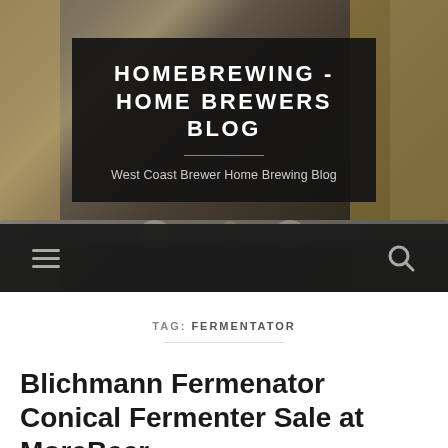[Figure (photo): Background photo of homebrewing/fermenting equipment — shiny metallic brewing pipes and tanks, dimly lit. A dark semi-transparent banner overlays the image with the blog title.]
HOMEBREWING - HOME BREWERS BLOG
West Coast Brewer Home Brewing Blog
TAG: FERMENTATOR
Blichmann Fermenator Conical Fermenter Sale at MoreBeer